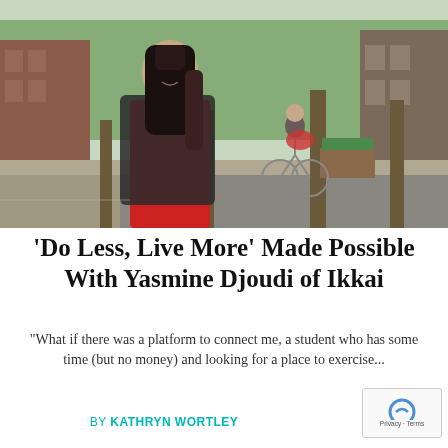[Figure (photo): A young woman with long dark hair wearing a red dress and black blazer stands on an urban sidewalk smiling at the camera. Behind her, a person rides a bicycle on a city street lined with trees and brick buildings.]
‘Do Less, Live More’ Made Possible With Yasmine Djoudi of Ikkai
"What if there was a platform to connect me, a student who has some time (but no money) and looking for a place to exercise...
BY KATHRYN WORTLEY